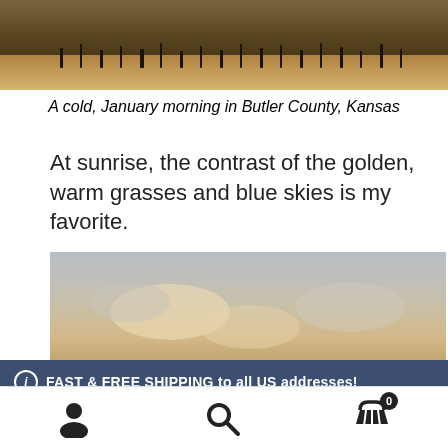[Figure (photo): Top portion of a landscape photo showing dried grasses and brush on a cold winter morning]
A cold, January morning in Butler County, Kansas
At sunrise, the contrast of the golden, warm grasses and blue skies is my favorite.
[Figure (photo): Landscape photo showing cloudy sky with warm tones near the horizon, a cold winter morning scene]
ⓘ FAST & FREE SHIPPING to all US addresses! Dismiss